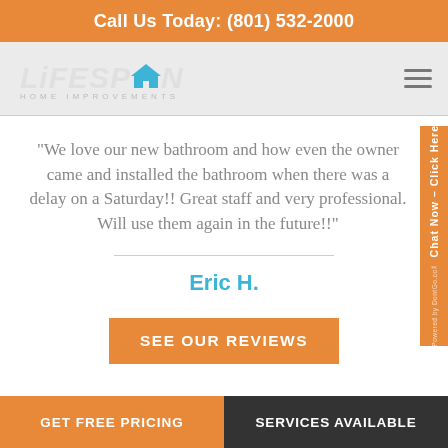Call Us Today: (801) 532-2000
[Figure (logo): Lifespan Home Improvements logo with house icon]
“We love our new bathroom and how even the owner came and installed the bathroom when there was a delay on a Saturday!! Great staff and very professional. Will use them again in the future!!”
Eric H.
SEE OUR REVIEWS
GET FREE PRICING | SERVICES AVAILABLE